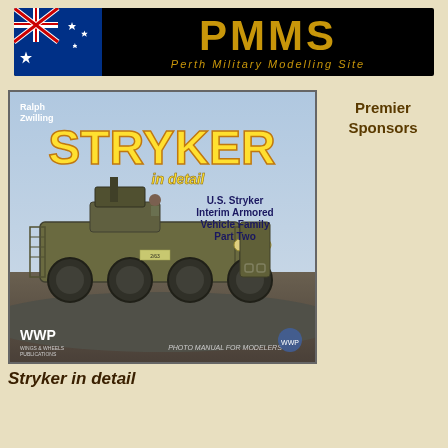[Figure (logo): PMMS Perth Military Modelling Site banner with Australian flag and yellow 'PMMS' text on black background]
[Figure (photo): Book cover: 'Stryker in detail - U.S. Stryker Interim Armored Vehicle Family Part Two' by Ralph Zwilling, WWP publisher, showing a Stryker armored vehicle]
Stryker in detail
Premier Sponsors